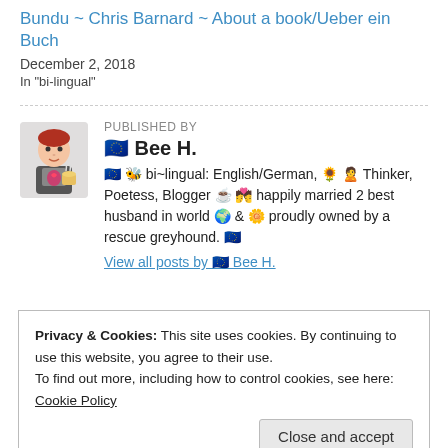Bundu ~ Chris Barnard ~ About a book/Ueber ein Buch
December 2, 2018
In "bi-lingual"
PUBLISHED BY
🇪🇺 Bee H.
🇪🇺 🐝 bi~lingual: English/German, 🌻 🙎 Thinker, Poetess, Blogger ☕ 💏 happily married 2 best husband in world 🌍 & 🌼 proudly owned by a rescue greyhound. 🇪🇺
View all posts by 🇪🇺 Bee H.
Privacy & Cookies: This site uses cookies. By continuing to use this website, you agree to their use.
To find out more, including how to control cookies, see here: Cookie Policy
Close and accept
2 thoughts on “Life’s good bye’s/ Des